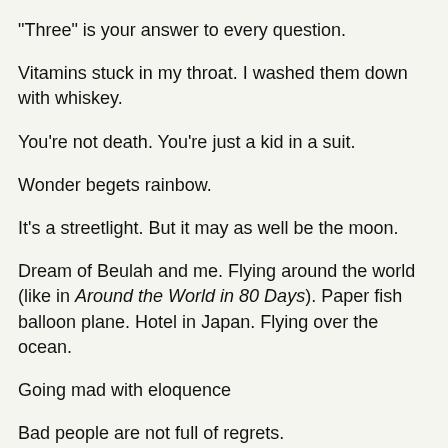"Three" is your answer to every question.
Vitamins stuck in my throat. I washed them down with whiskey.
You're not death. You're just a kid in a suit.
Wonder begets rainbow.
It's a streetlight. But it may as well be the moon.
Dream of Beulah and me. Flying around the world (like in Around the World in 80 Days). Paper fish balloon plane. Hotel in Japan. Flying over the ocean.
Going mad with eloquence
Bad people are not full of regrets.
Absence of the inner accusing dialogue. A lack of conscience.